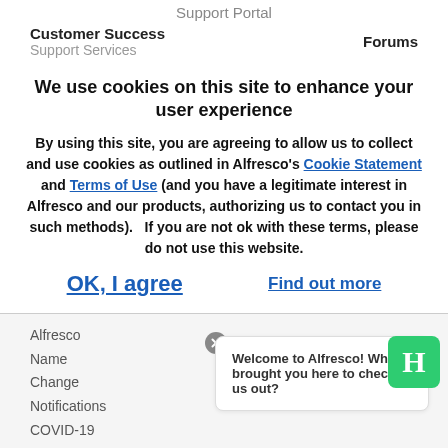Support Portal
Customer Success
Support Services
Forums
We use cookies on this site to enhance your user experience
By using this site, you are agreeing to allow us to collect and use cookies as outlined in Alfresco's Cookie Statement and Terms of Use (and you have a legitimate interest in Alfresco and our products, authorizing us to contact you in such methods).   If you are not ok with these terms, please do not use this website.
OK, I agree
Find out more
Alfresco
Name
Change
Notifications
COVID-19
Statement
Welcome to Alfresco! What brought you here to check us out?